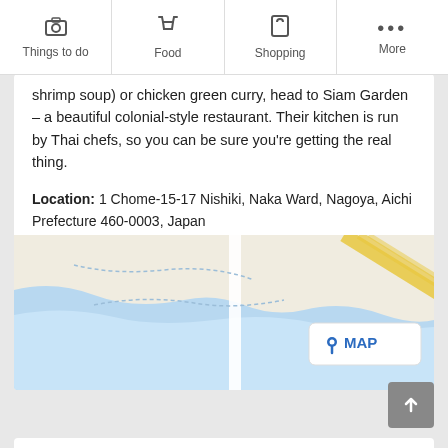Things to do | Food | Shopping | More
shrimp soup) or chicken green curry, head to Siam Garden – a beautiful colonial-style restaurant. Their kitchen is run by Thai chefs, so you can be sure you're getting the real thing.
Location: 1 Chome-15-17 Nishiki, Naka Ward, Nagoya, Aichi Prefecture 460-0003, Japan
Open: 11.30 am – 14:30 and dinner 17:30 – 22:30, closed first and third Sunday of the month.
Phone: +81 (0)52 222 8600
[Figure (map): Google Maps screenshot showing the location of Siam Garden restaurant in Naka Ward, Nagoya. Map has a MAP button overlay with a location pin icon.]